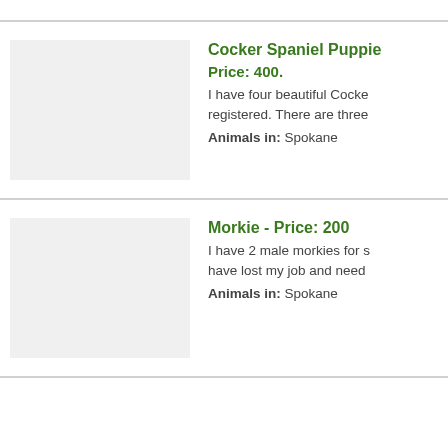Cocker Spaniel Puppie
Price: 400.
I have four beautiful Cocke registered. There are three
Animals in: Spokane
Morkie - Price: 200
I have 2 male morkies for s have lost my job and need
Animals in: Spokane